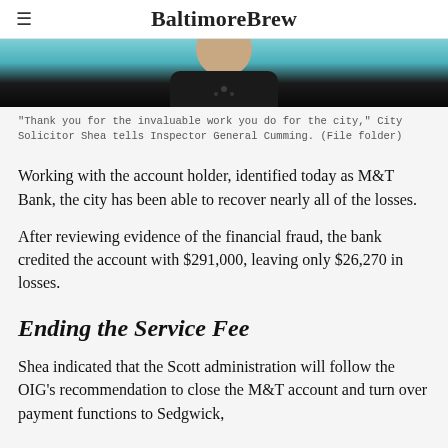BaltimoreBrew
[Figure (photo): Partial photo of a person in a dark jacket, cropped at top of page]
"Thank you for the invaluable work you do for the city," City Solicitor Shea tells Inspector General Cumming. (File folder)
Working with the account holder, identified today as M&T Bank, the city has been able to recover nearly all of the losses.
After reviewing evidence of the financial fraud, the bank credited the account with $291,000, leaving only $26,270 in losses.
Ending the Service Fee
Shea indicated that the Scott administration will follow the OIG's recommendation to close the M&T account and turn over payment functions to Sedgwick,